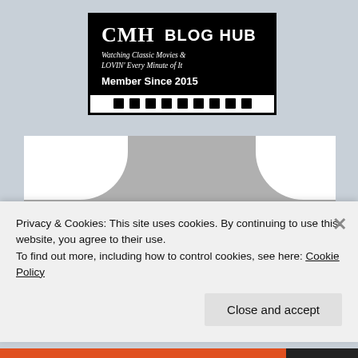[Figure (logo): CMH Blog Hub badge/logo on black background with film strip border. Text: CMH BLOG HUB, Watching Classic Movies & LOVIN' Every Minute of It, Member Since 2015]
[Figure (illustration): CMBA logo image with gray background, white cloud shapes in upper corners, and large black CMBA letters at the bottom]
Privacy & Cookies: This site uses cookies. By continuing to use this website, you agree to their use.
To find out more, including how to control cookies, see here: Cookie Policy
Close and accept